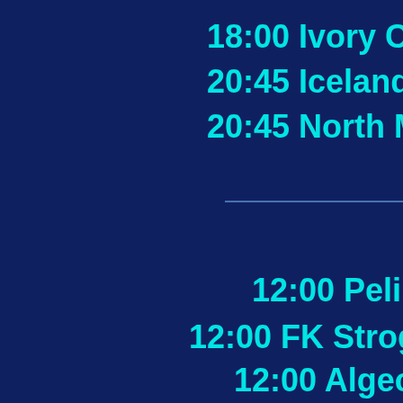18:00 Ivory Co...
20:45 Iceland vs...
20:45 North Mac...
12:00 Pelika...
12:00 FK Strogino Mo...
12:00 Algecira...
12:00 Cordoba...